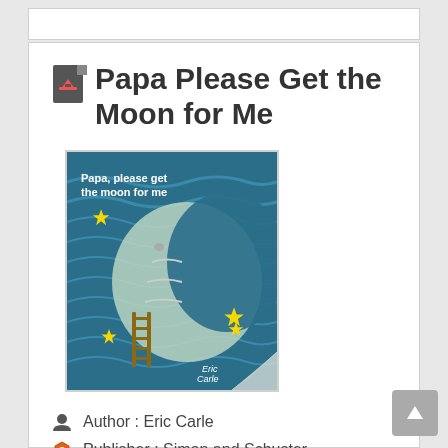Papa Please Get the Moon for Me
[Figure (illustration): Book cover of 'Papa, please get the moon for me' by Eric Carle showing a crescent moon with a smiling face on a blue background with yellow stars and a ladder]
Author : Eric Carle
Publisher : Simon and Schuster
Release : 2015-08-04